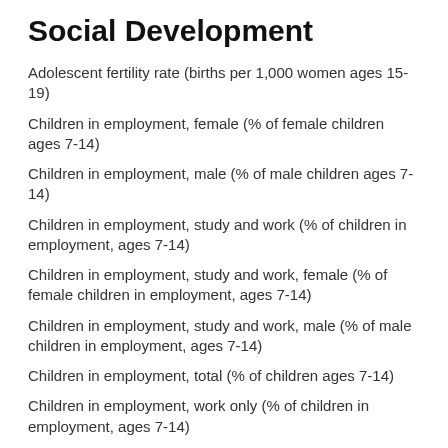Social Development
Adolescent fertility rate (births per 1,000 women ages 15-19)
Children in employment, female (% of female children ages 7-14)
Children in employment, male (% of male children ages 7-14)
Children in employment, study and work (% of children in employment, ages 7-14)
Children in employment, study and work, female (% of female children in employment, ages 7-14)
Children in employment, study and work, male (% of male children in employment, ages 7-14)
Children in employment, total (% of children ages 7-14)
Children in employment, work only (% of children in employment, ages 7-14)
Children in employment, work only, female (% of female children in employment, ages 7-14)
Children in employment, work only, male (% of male